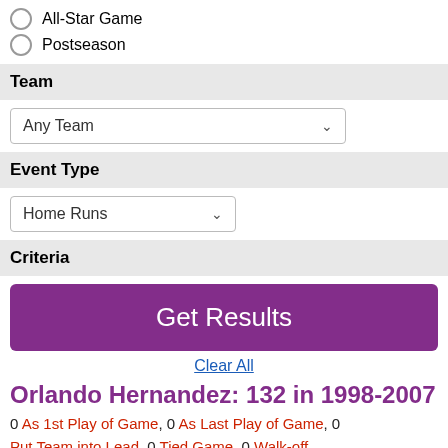All-Star Game
Postseason
Team
Any Team
Event Type
Home Runs
Criteria
Get Results
Clear All
Orlando Hernandez: 132 in 1998-2007
0 As 1st Play of Game, 0 As Last Play of Game, 0 Put Team into Lead, 0 Tied Game, 0 Walk-off